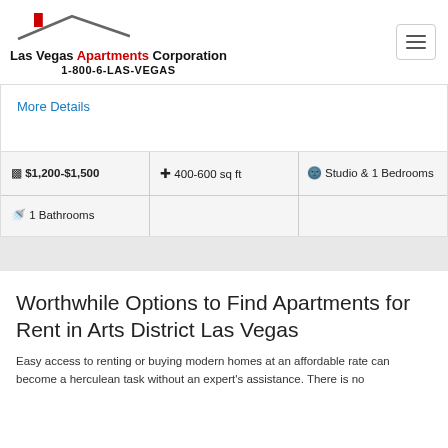Las Vegas Apartments Corporation 1-800-6-LAS-VEGAS
More Details
| Price | Size | Bedrooms |
| --- | --- | --- |
| $1,200-$1,500 | 400-600 sq ft | Studio & 1 Bedrooms |
| 1 Bathrooms |  |  |
Worthwhile Options to Find Apartments for Rent in Arts District Las Vegas
Easy access to renting or buying modern homes at an affordable rate can become a herculean task without an expert's assistance. There is no